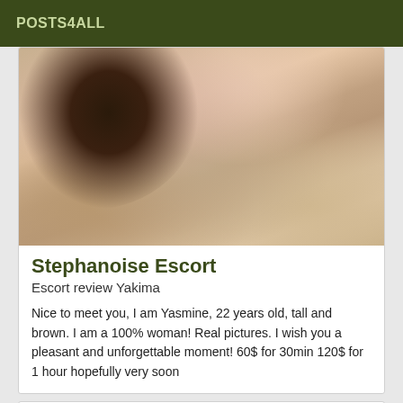POSTS4ALL
[Figure (photo): Photo of a person crouching on a wooden floor, showing legs and lower body, wearing a black skirt and beige shoes]
Stephanoise Escort
Escort review Yakima
Nice to meet you, I am Yasmine, 22 years old, tall and brown. I am a 100% woman! Real pictures. I wish you a pleasant and unforgettable moment! 60$ for 30min 120$ for 1 hour hopefully very soon